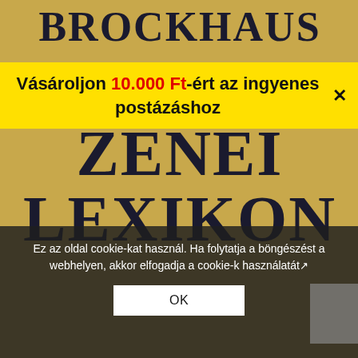[Figure (photo): Book cover of Brockhaus Riemann Zenei Lexikon on a golden/tan background with dark serif text]
Vásároljon 10.000 Ft-ért az ingyenes postázáshoz
Ez az oldal cookie-kat használ. Ha folytatja a böngészést a webhelyen, akkor elfogadja a cookie-k használatát.
OK